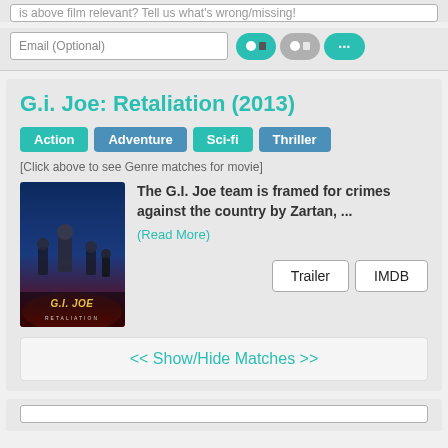is above film relevant? Tell us what's wrong/missing!
Email (Optional)
G.i. Joe: Retaliation (2013)
Action
Adventure
Sci-fi
Thriller
[Click above to see Genre matches for movie]
[Figure (photo): Movie poster for G.I. Joe: Retaliation showing action figures against blue and red background with G.I. JOE logo]
The G.I. Joe team is framed for crimes against the country by Zartan, ...
(Read More)
Trailer   IMDB
<< Show/Hide Matches >>